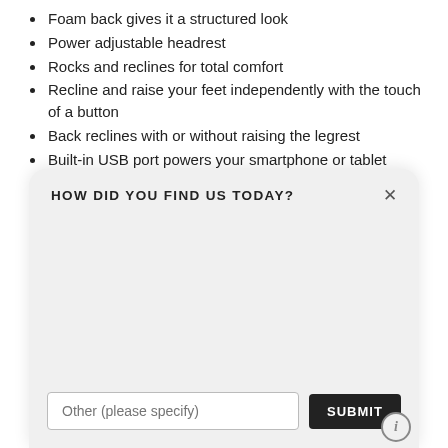Foam back gives it a structured look
Power adjustable headrest
Rocks and reclines for total comfort
Recline and raise your feet independently with the touch of a button
Back reclines with or without raising the legrest
Built-in USB port powers your smartphone or tablet
Double-picked blown fiber fill for improved shape retention
[Figure (screenshot): A modal dialog box with title 'HOW DID YOU FIND US TODAY?' with a close button (×), a large empty grey body area, a text input placeholder 'Other (please specify)', a SUBMIT button, and an info icon in the lower right corner.]